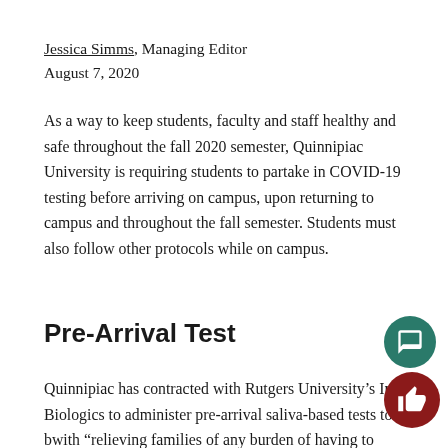Jessica Simms, Managing Editor
August 7, 2020
As a way to keep students, faculty and staff healthy and safe throughout the fall 2020 semester, Quinnipiac University is requiring students to partake in COVID-19 testing before arriving on campus, upon returning to campus and throughout the fall semester. Students must also follow other protocols while on campus.
Pre-Arrival Test
Quinnipiac has contracted with Rutgers University’s Inf… Biologics to administer pre-arrival saliva-based tests to b… with “relieving families of any burden of having to iden… … from COVID-19 test” according t…